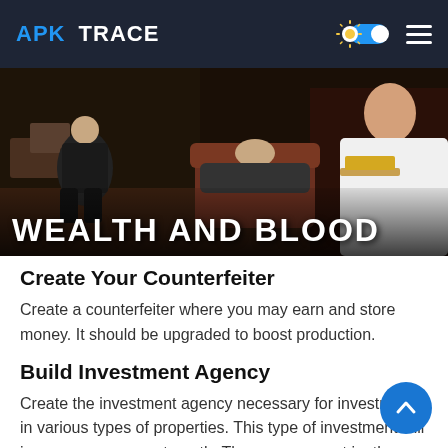APK TRACE
[Figure (photo): Game promotional banner for 'Wealth and Blood' showing characters in a room setting with bold white text 'WEALTH AND BLOOD' at the bottom]
Create Your Counterfeiter
Create a counterfeiter where you may earn and store money. It should be upgraded to boost production.
Build Investment Agency
Create the investment agency necessary for investment in various types of properties. This type of investment will improve your crew strength. The more you put in, the more you